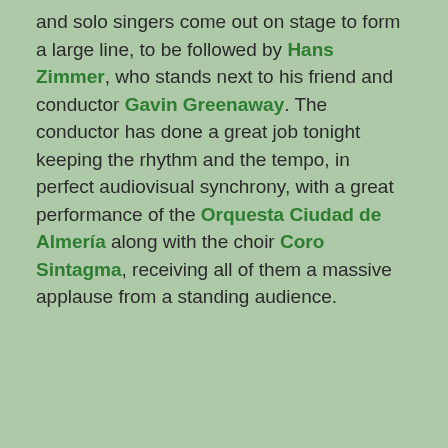and solo singers come out on stage to form a large line, to be followed by Hans Zimmer, who stands next to his friend and conductor Gavin Greenaway. The conductor has done a great job tonight keeping the rhythm and the tempo, in perfect audiovisual synchrony, with a great performance of the Orquesta Ciudad de Almería along with the choir Coro Sintagma, receiving all of them a massive applause from a standing audience.